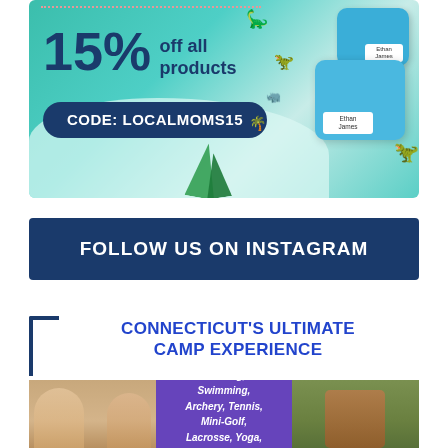[Figure (infographic): Advertisement for personalized products showing 15% off all products, CODE: LOCALMOMS15, with dinosaur-themed lunch boxes/containers with name tags reading Ethan James, and dotted decorative line]
FOLLOW US ON INSTAGRAM
[Figure (infographic): Connecticut's Ultimate Camp Experience advertisement with bracket decoration, showing three-column image grid: left photo of kids eating, middle purple column listing activities (Cooking, Swimming, Archery, Tennis, Mini-Golf, Lacrosse, Yoga, Nature, and more), right photo of kid in go-kart. Bottom row: Bringing kids together from [cut off], Experience up to eight weeks of fun! [cut off], Breakfast & Lunch [cut off]]